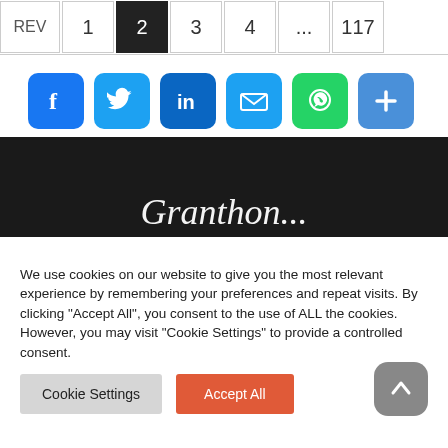REV 1 2 3 4 ... 117
[Figure (infographic): Social sharing icons: Facebook, Twitter, LinkedIn, Email, WhatsApp, Plus/Share]
[Figure (screenshot): Dark banner with partial cursive script text visible at the bottom]
We use cookies on our website to give you the most relevant experience by remembering your preferences and repeat visits. By clicking "Accept All", you consent to the use of ALL the cookies. However, you may visit "Cookie Settings" to provide a controlled consent.
Cookie Settings | Accept All